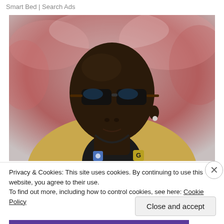Smart Bed | Search Ads
[Figure (photo): A man wearing sunglasses and a gold/tan blazer with a black shirt and chain necklace, looking upward, photographed outdoors with a blurred red and white background.]
Privacy & Cookies: This site uses cookies. By continuing to use this website, you agree to their use.
To find out more, including how to control cookies, see here: Cookie Policy